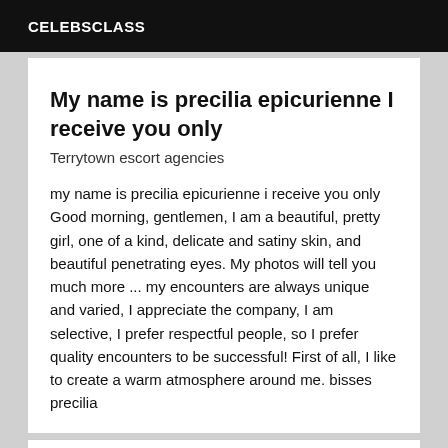CELEBSCLASS
My name is precilia epicurienne I receive you only
Terrytown escort agencies
my name is precilia epicurienne i receive you only Good morning, gentlemen, I am a beautiful, pretty girl, one of a kind, delicate and satiny skin, and beautiful penetrating eyes. My photos will tell you much more ... my encounters are always unique and varied, I appreciate the company, I am selective, I prefer respectful people, so I prefer quality encounters to be successful! First of all, I like to create a warm atmosphere around me. bisses precilia